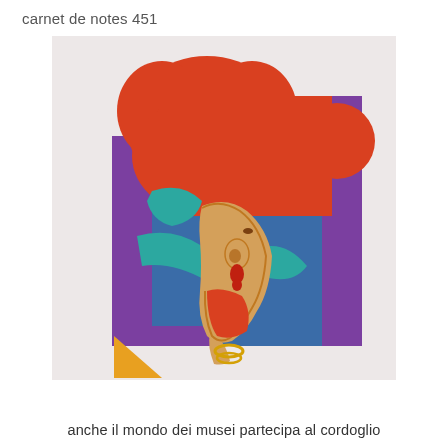carnet de notes 451
[Figure (illustration): Colorful modernist/art-nouveau style illustration showing a stylized profile of a woman's face and neck (in warm tan/beige tones with red earring and gold jewelry at neck) against bold geometric shapes: a large red cloud-like form at top, a blue rectangle behind, a purple stepped/angular frame, and a teal/cyan ribbon or scarf element. Small yellow triangle at bottom left. White/light grey background.]
anche il mondo dei musei partecipa al cordoglio